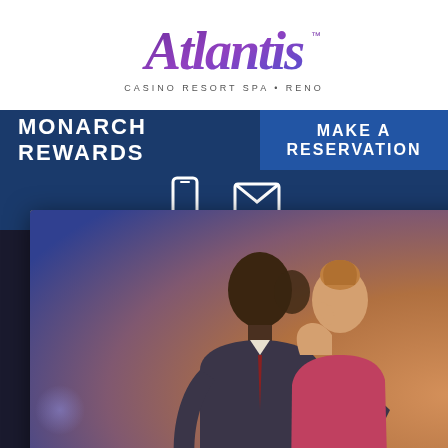[Figure (logo): Atlantis Casino Resort Spa Reno logo in purple script with subtitle]
MONARCH REWARDS
MAKE A RESERVATION
[Figure (photo): Couple about to kiss, man in suit, woman in pink/red dress, bokeh background lights]
LUXURY AWAITS
30% OFF
[Figure (logo): Atlantis Casino Resort Spa Reno logo small in popup ad]
BOOK NOW
e users